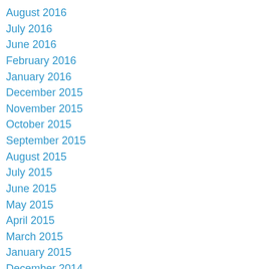August 2016
July 2016
June 2016
February 2016
January 2016
December 2015
November 2015
October 2015
September 2015
August 2015
July 2015
June 2015
May 2015
April 2015
March 2015
January 2015
December 2014
November 2014
October 2014
September 2014
August 2014